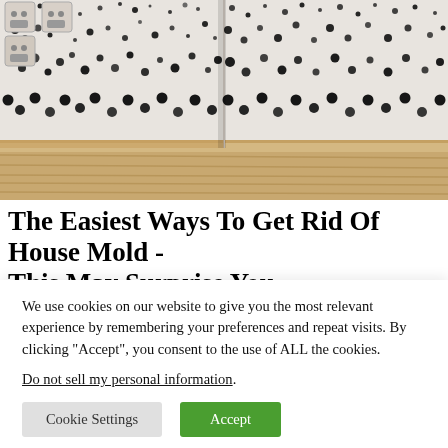[Figure (photo): Photograph of a room corner with extensive black mold covering white walls, with wooden baseboard and light wood floor visible at the bottom. Two electrical outlets visible in the upper left.]
The Easiest Ways To Get Rid Of House Mold - This May Surprise You
We use cookies on our website to give you the most relevant experience by remembering your preferences and repeat visits. By clicking “Accept”, you consent to the use of ALL the cookies.
Do not sell my personal information.